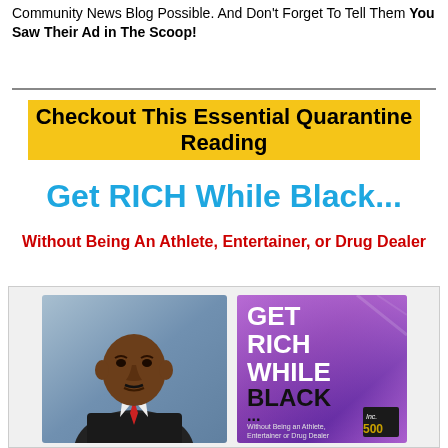Community News Blog Possible. And Don't Forget To Tell Them You Saw Their Ad in The Scoop!
Checkout This Essential Quarantine Reading
Get RICH While Black...
Without Being An Athlete, Entertainer, or Drug Dealer
[Figure (photo): Left: headshot of a bald Black man in a suit and tie against a blue background. Right: book cover with purple gradient background showing text 'GET RICH WHILE BLACK... Without Being an Athlete, Entertainer or Drug Dealer' with an Inc 500 badge at the bottom.]